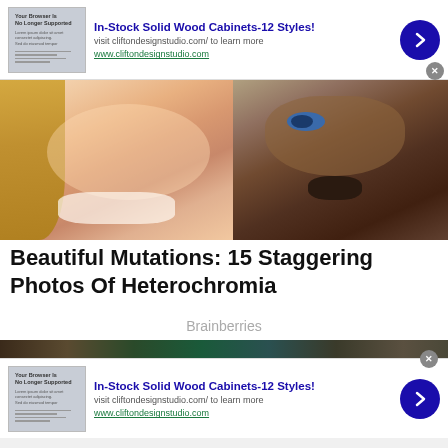[Figure (infographic): Advertisement banner: thumbnail image of a document, title 'In-Stock Solid Wood Cabinets-12 Styles!', subtitle 'visit cliftondesignstudio.com/ to learn more', URL 'www.cliftondesignstudio.com', blue arrow button, close X button]
[Figure (photo): Photo of a smiling blonde woman with a dog that has heterochromia (one blue eye, one brown eye)]
Beautiful Mutations: 15 Staggering Photos Of Heterochromia
Brainberries
[Figure (photo): Photo of a woman running or exercising outdoors, holding her hair up, with colorful background]
[Figure (infographic): Second advertisement banner: thumbnail image of a document, title 'In-Stock Solid Wood Cabinets-12 Styles!', subtitle 'visit cliftondesignstudio.com/ to learn more', URL 'www.cliftondesignstudio.com', blue arrow button, close X button]